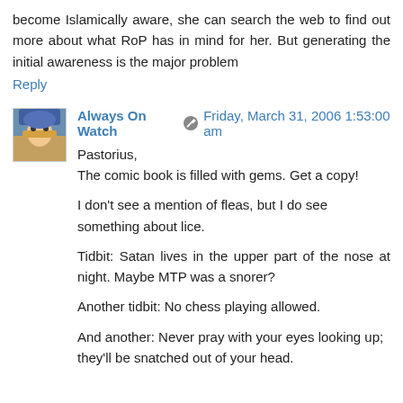become Islamically aware, she can search the web to find out more about what RoP has in mind for her. But generating the initial awareness is the major problem
Reply
Always On Watch  Friday, March 31, 2006 1:53:00 am
Pastorius,
The comic book is filled with gems. Get a copy!

I don't see a mention of fleas, but I do see something about lice.

Tidbit: Satan lives in the upper part of the nose at night. Maybe MTP was a snorer?

Another tidbit: No chess playing allowed.

And another: Never pray with your eyes looking up; they'll be snatched out of your head.